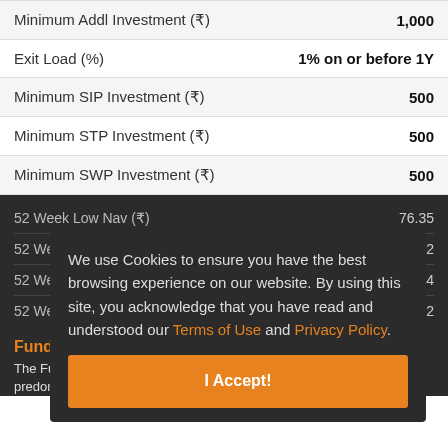| Field | Value |
| --- | --- |
| Minimum Addl Investment (₹) | 1,000 |
| Exit Load (%) | 1% on or before 1Y |
| Minimum SIP Investment (₹) | 500 |
| Minimum STP Investment (₹) | 500 |
| Minimum SWP Investment (₹) | 500 |
| 52 Week Low Nav (₹) | 76.35 |
| 52 Week Low Nav Date | 20-Jun-2022 |
| 52 Week High Nav (₹) | 96.84 |
| 52 Week High Nav Date | 17-Jan-2022 |
We use Cookies to ensure you have the best browsing experience on our website. By using this site, you acknowledge that you have read and understood our Terms of Use and Privacy Policy.
Fund Objective
The Fund seeks to provide long-term capital appreciation by investing predominantly in small cap companies.